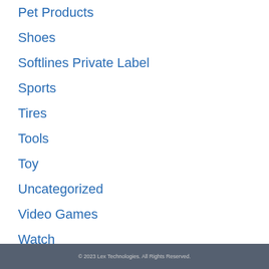Pet Products
Shoes
Softlines Private Label
Sports
Tires
Tools
Toy
Uncategorized
Video Games
Watch
Wireless
© 2023 Lex Technologies. All Rights Reserved.